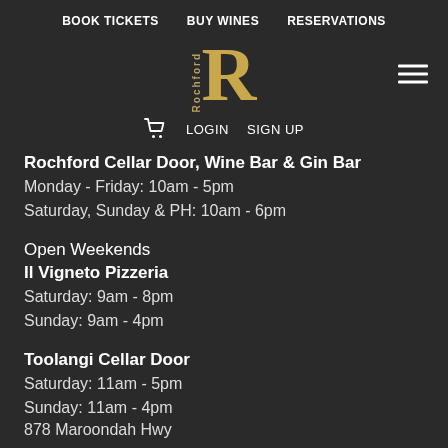BOOK TICKETS   BUY WINES   RESERVATIONS
[Figure (logo): Rochford winery logo with stylized gold R and vertical Rochford text]
LOGIN   SIGN UP
Rochford Cellar Door, Wine Bar & Gin Bar
Monday - Friday: 10am - 5pm
Saturday, Sunday & PH: 10am - 6pm
Open Weekends
Il Vigneto Pizzeria
Saturday: 9am - 8pm
Sunday: 9am - 4pm
Toolangi Cellar Door
Saturday: 11am - 5pm
Sunday: 11am - 4pm
878 Maroondah Hwy